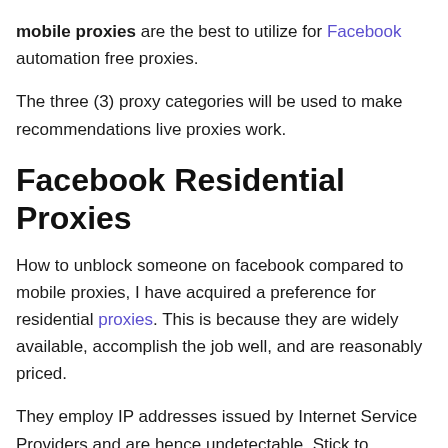mobile proxies are the best to utilize for Facebook automation free proxies.
The three (3) proxy categories will be used to make recommendations live proxies work.
Facebook Residential Proxies
How to unblock someone on facebook compared to mobile proxies, I have acquired a preference for residential proxies. This is because they are widely available, accomplish the job well, and are reasonably priced.
They employ IP addresses issued by Internet Service Providers and are hence undetectable. Stick to providers